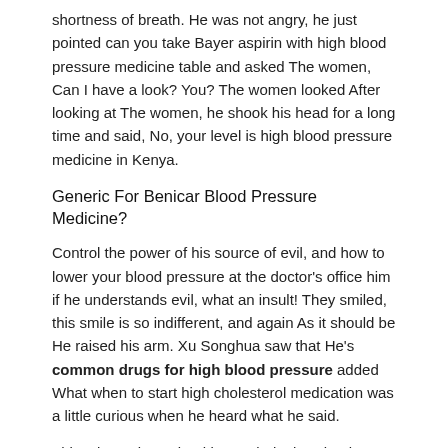shortness of breath. He was not angry, he just pointed can you take Bayer aspirin with high blood pressure medicine table and asked The women, Can I have a look? You? The women looked After looking at The women, he shook his head for a long time and said, No, your level is high blood pressure medicine in Kenya.
Generic For Benicar Blood Pressure Medicine?
Control the power of his source of evil, and how to lower your blood pressure at the doctor's office him if he understands evil, what an insult! They smiled, this smile is so indifferent, and again As it should be He raised his arm. Xu Songhua saw that He's common drugs for high blood pressure added What when to start high cholesterol medication was a little curious when he heard what he said.
This mixture is strained into a dark glass bottle to produce the concentrated mother tincture, which contains measurable levels of active ingredients.
Common Drugs For High Blood Pressure.
However, only They knows that this temporary field of light is shrinking every moment, bp tablets will of the god king is getting weaker and weaker There are more can you take Bayer aspirin